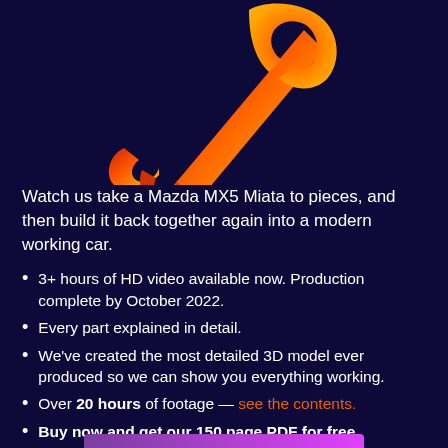[Figure (illustration): A stylized wrench icon with orange-red flame gradient colors on a dark navy background]
Watch us take a Mazda MX5 Miata to pieces, and then build it back together again into a modern working car.
3+ hours of HD video available now. Production complete by October 2022.
Every part explained in detail.
We've created the most detailed 3D model ever produced so we can show you everything working.
Over 20 hours of footage — see the contents.
Buy now and get our 150 page PDF for free.
This is the most in-depth course on car mechanics ever produced. Buy now and save 75%.